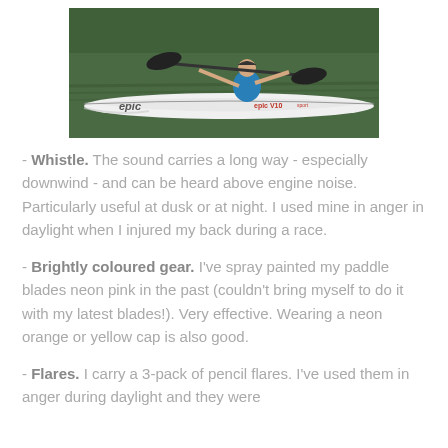[Figure (photo): A kayaker paddling on water in a white Epic V10 Sport kayak, wearing a blue and orange vest, on a green-tinted water surface.]
- Whistle. The sound carries a long way - especially downwind - and can be heard above engine noise. Particularly useful at dusk or at night. I used mine in anger in daylight when I injured my back during a race.
- Brightly coloured gear. I've spray painted my paddle blades neon pink in the past (couldn't bring myself to do it with my latest blades!). Very effective. Wearing a neon orange or yellow cap is also good.
- Flares. I carry a 3-pack of pencil flares. I've used them in anger during daylight and they were